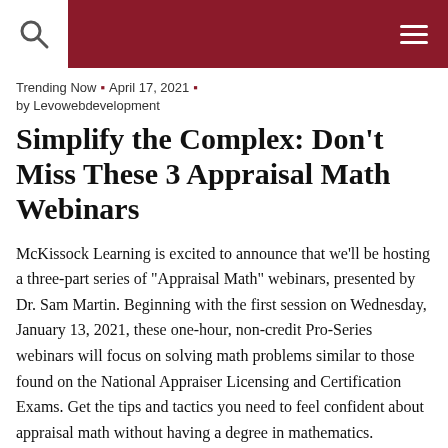Trending Now • April 17, 2021 • by Levowebdevelopment
Simplify the Complex: Don't Miss These 3 Appraisal Math Webinars
McKissock Learning is excited to announce that we'll be hosting a three-part series of "Appraisal Math" webinars, presented by Dr. Sam Martin. Beginning with the first session on Wednesday, January 13, 2021, these one-hour, non-credit Pro-Series webinars will focus on solving math problems similar to those found on the National Appraiser Licensing and Certification Exams. Get the tips and tactics you need to feel confident about appraisal math without having a degree in mathematics.